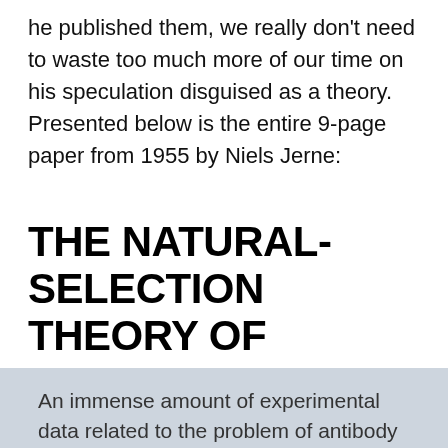he published them, we really don't need to waste too much more of our time on his speculation disguised as a theory. Presented below is the entire 9-page paper from 1955 by Niels Jerne:
THE NATURAL-SELECTION THEORY OF ANTIBODY FORMATION
An immense amount of experimental data related to the problem of antibody